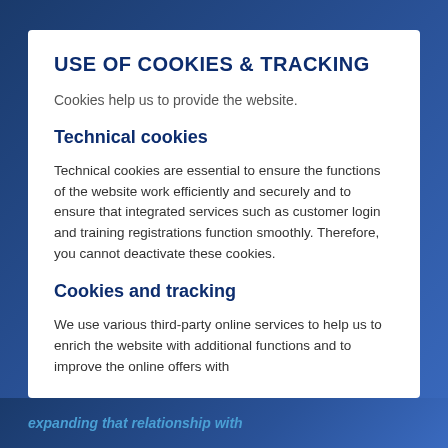USE OF COOKIES & TRACKING
Cookies help us to provide the website.
Technical cookies
Technical cookies are essential to ensure the functions of the website work efficiently and securely and to ensure that integrated services such as customer login and training registrations function smoothly. Therefore, you cannot deactivate these cookies.
Cookies and tracking
We use various third-party online services to help us to enrich the website with additional functions and to improve the online offers with
expanding that relationship with